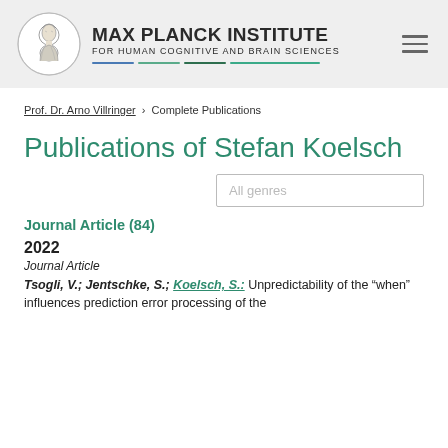[Figure (logo): Max Planck Institute logo with circular emblem and colored bars beneath institute name]
MAX PLANCK INSTITUTE FOR HUMAN COGNITIVE AND BRAIN SCIENCES
Prof. Dr. Arno Villringer › Complete Publications
Publications of Stefan Koelsch
All genres
Journal Article (84)
2022
Journal Article
Tsogli, V.; Jentschke, S.; Koelsch, S.: Unpredictability of the "when" influences prediction error processing of the